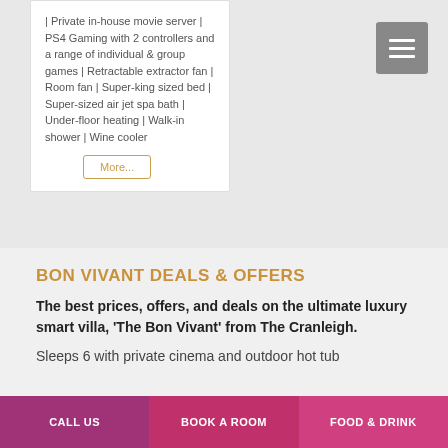| Private in-house movie server | PS4 Gaming with 2 controllers and a range of individual & group games | Retractable extractor fan | Room fan | Super-king sized bed | Super-sized air jet spa bath | Under-floor heating | Walk-in shower | Wine cooler
More...
BON VIVANT DEALS & OFFERS
The best prices, offers, and deals on the ultimate luxury smart villa, 'The Bon Vivant' from The Cranleigh.
Sleeps 6 with private cinema and outdoor hot tub
CALL US
BOOK A ROOM
FOOD & DRINK